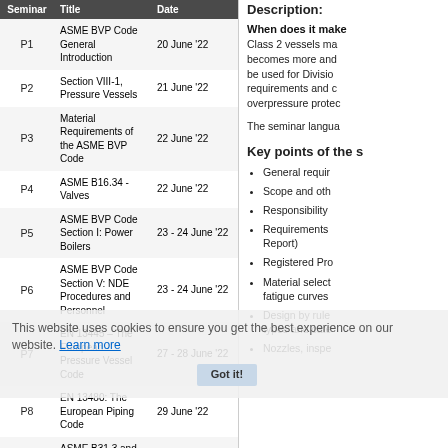| Seminar | Title | Date |
| --- | --- | --- |
| P1 | ASME BVP Code General Introduction | 20 June '22 |
| P2 | Section VIII-1, Pressure Vessels | 21 June '22 |
| P3 | Material Requirements of the ASME BVP Code | 22 June '22 |
| P4 | ASME B16.34 - Valves | 22 June '22 |
| P5 | ASME BVP Code Section I: Power Boilers | 23 - 24 June '22 |
| P6 | ASME BVP Code Section V: NDE Procedures and Personnel | 23 - 24 June '22 |
| P7 | EN 13445 – The European Pressure Vessel Code | 27 - 28 June '22 |
| P8 | EN 13480: The European Piping Code | 29 June '22 |
| P9 | ASME B31.3 and B31.1: Process & Power Piping | 30 June '22 |
| P10 | ASME BPV Code, Section IX: Welding | 1 July '22 |
| P11a | ASME BVP Code Section VIII, Division 1: Workshop Design | 21 - 22 July '22 |
This website uses cookies to ensure you get the best experience on our website. Learn more
Description:
When does it make sense to use Division 2? Class 2 vessels make sense when the wall thickness becomes more and more significant. It can also be used for Division 1 vessels to optimize requirements and can be applied to define overpressure protection.
The seminar langua...
Key points of the s...
General requir...
Scope and oth...
Responsibility
Requirements ... Report)
Registered Pro...
Material select... fatigue curves
Design by rule... types and cate...
Nozzles, inspe...